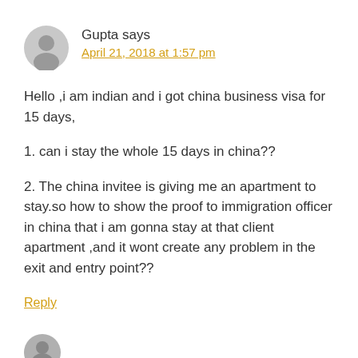Gupta says
April 21, 2018 at 1:57 pm
Hello ,i am indian and i got china business visa for 15 days,
1. can i stay the whole 15 days in china??
2. The china invitee is giving me an apartment to stay.so how to show the proof to immigration officer in china that i am gonna stay at that client apartment ,and it wont create any problem in the exit and entry point??
Reply